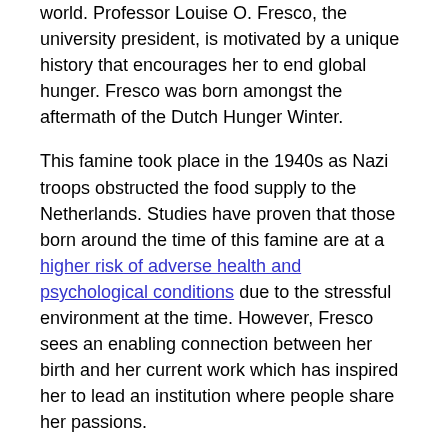world. Professor Louise O. Fresco, the university president, is motivated by a unique history that encourages her to end global hunger. Fresco was born amongst the aftermath of the Dutch Hunger Winter.
This famine took place in the 1940s as Nazi troops obstructed the food supply to the Netherlands. Studies have proven that those born around the time of this famine are at a higher risk of adverse health and psychological conditions due to the stressful environment at the time. However, Fresco sees an enabling connection between her birth and her current work which has inspired her to lead an institution where people share her passions.
Many students at the university agree that the real barricade in solving world hunger is the overproduction of food that many deem necessary in Europe, yet a large percentage of that supply becomes wasted and its production ultimately hurts the environment. The real goals are to solve these problems with minimal impact on the environment in order to achieve sustainability and reach those who are malnourished.
Students are developing innovations to meet these overall